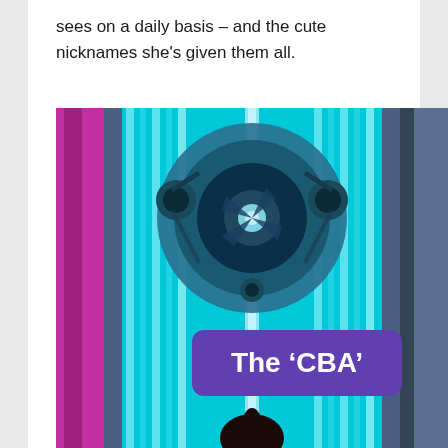sees on a daily basis – and the cute nicknames she's given them all.
[Figure (photo): Interior view of a tanning booth/sunbed from below, showing cyan/blue UV lights arranged vertically and a large circular fan unit at the top, with pink/magenta lighting on the left side. A purple rounded-rectangle overlay reads 'The ‘CBA’' in white bold text. A person's head with dark hair in a ponytail is partially visible at the bottom.]